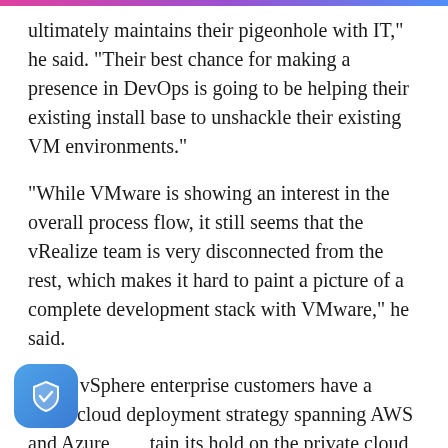ultimately maintains their pigeonhole with IT," he said. "Their best chance for making a presence in DevOps is going to be helping their existing install base to unshackle their existing VM environments."
"While VMware is showing an interest in the overall process flow, it still seems that the vRealize team is very disconnected from the rest, which makes it hard to paint a picture of a complete development stack with VMware," he said.
Many vSphere enterprise customers have a multi-cloud deployment strategy spanning AWS and Azure, tain its hold on the private cloud, VMware has to vide hybrid connectivity to these environments,